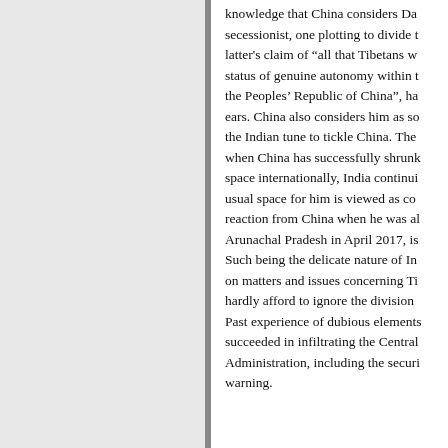knowledge that China considers Da secessionist, one plotting to divide t latter's claim of "all that Tibetans w status of genuine autonomy within t the Peoples' Republic of China", ha ears. China also considers him as so the Indian tune to tickle China. The when China has successfully shrunk space internationally, India continui usual space for him is viewed as co reaction from China when he was al Arunachal Pradesh in April 2017, is Such being the delicate nature of In on matters and issues concerning Ti hardly afford to ignore the division Past experience of dubious elements succeeded in infiltrating the Central Administration, including the securi warning.
It is also time India understands the Tibetan politics. India cannot...